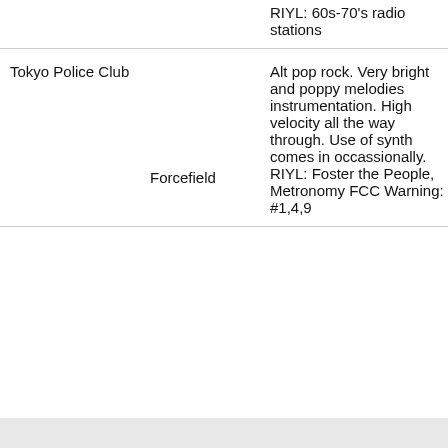| Artist | Album | Description | For |
| --- | --- | --- | --- |
|  |  | RIYL: 60s-70's radio stations |  |
| Tokyo Police Club | Forcefield | Alt pop rock. Very bright and poppy melodies instrumentation. High velocity all the way through. Use of synth comes in occassionally. RIYL: Foster the People, Metronomy FCC Warning: #1,4,9 | Mom + |